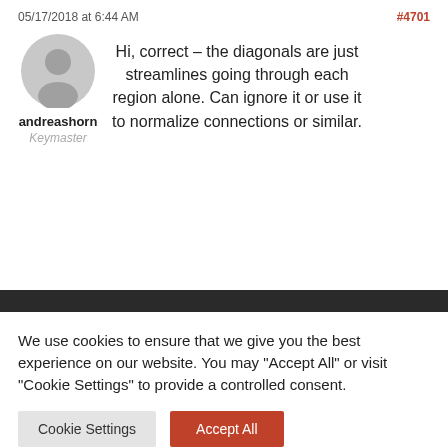05/17/2018 at 6:44 AM   #4701
andreashorn
Keymaster

Hi, correct – the diagonals are just streamlines going through each region alone. Can ignore it or use it to normalize connections or similar.
We use cookies to ensure that we give you the best experience on our website. You may "Accept All" or visit "Cookie Settings" to provide a controlled consent.